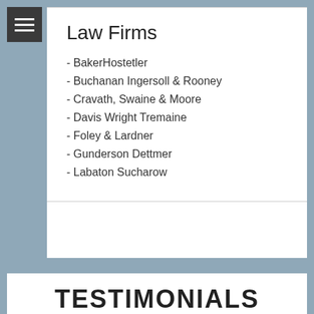Law Firms
- BakerHostetler
- Buchanan Ingersoll & Rooney
- Cravath, Swaine & Moore
- Davis Wright Tremaine
- Foley & Lardner
- Gunderson Dettmer
- Labaton Sucharow
TESTIMONIALS
Frances M. Montalvo, Esq.